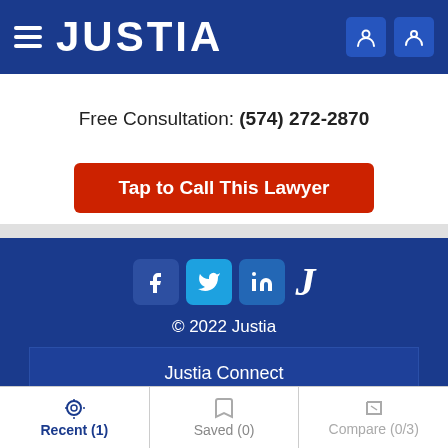JUSTIA
Free Consultation: (574) 272-2870
Tap to Call This Lawyer
[Figure (logo): Social media icons: Facebook, Twitter, LinkedIn, Justia J]
© 2022 Justia
Justia Connect
Legal Portal
Company
Recent (1) | Saved (0) | Compare (0/3)